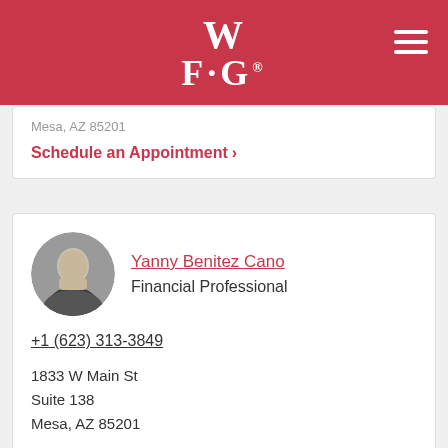WFG
Mesa, AZ 85201
Schedule an Appointment ›
Yanny Benitez Cano
Financial Professional
+1 (623) 313-3849
1833 W Main St
Suite 138
Mesa, AZ 85201
Schedule an Appointment ›